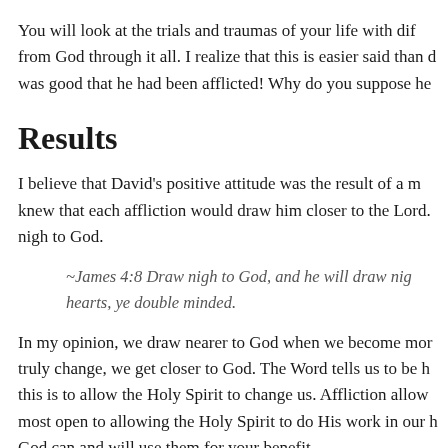You will look at the trials and traumas of your life with dif from God through it all. I realize that this is easier said than d was good that he had been afflicted! Why do you suppose he
Results
I believe that David’s positive attitude was the result of a m knew that each affliction would draw him closer to the Lord. nigh to God.
~James 4:8 Draw nigh to God, and he will draw nig hearts, ye double minded.
In my opinion, we draw nearer to God when we become mor truly change, we get closer to God. The Word tells us to be h this is to allow the Holy Spirit to change us. Affliction allow most open to allowing the Holy Spirit to do His work in our h God can and will use them for your benefit.